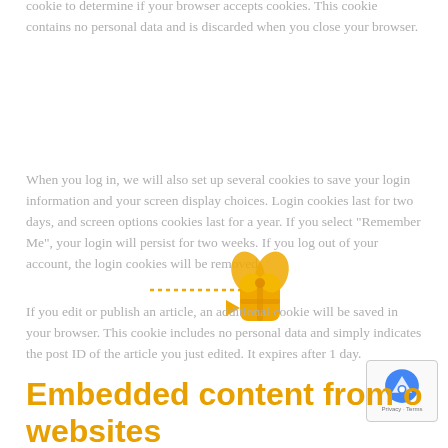cookie to determine if your browser accepts cookies. This cookie contains no personal data and is discarded when you close your browser.
When you log in, we will also set up several cookies to save your login information and your screen display choices. Login cookies last for two days, and screen options cookies last for a year. If you select "Remember Me", your login will persist for two weeks. If you log out of your account, the login cookies will be removed.
If you edit or publish an article, an additional cookie will be saved in your browser. This cookie includes no personal data and simply indicates the post ID of the article you just edited. It expires after 1 day.
Embedded content from o websites